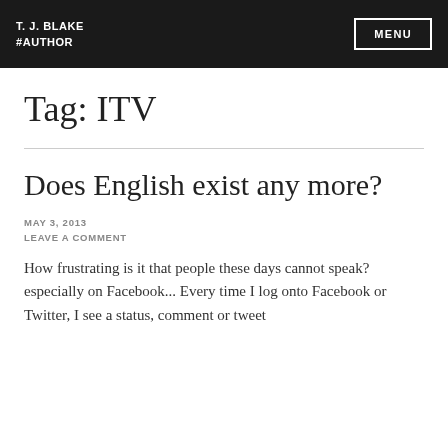T. J. BLAKE
#AUTHOR
Tag: ITV
Does English exist any more?
MAY 3, 2013
LEAVE A COMMENT
How frustrating is it that people these days cannot speak? especially on Facebook... Every time I log onto Facebook or Twitter, I see a status, comment or tweet